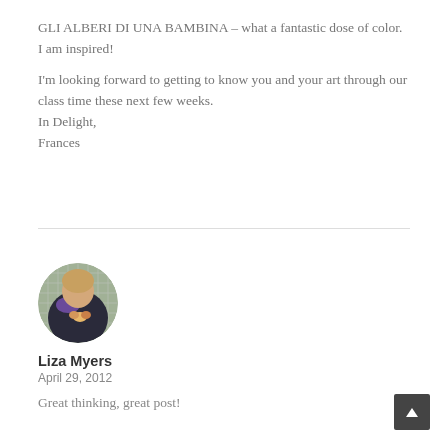GLI ALBERI DI UNA BAMBINA – what a fantastic dose of color. I am inspired!
I'm looking forward to getting to know you and your art through our class time these next few weeks.
In Delight,
Frances
[Figure (photo): Circular avatar photo of Liza Myers showing a person holding eggs in a nest]
Liza Myers
April 29, 2012
Great thinking, great post!